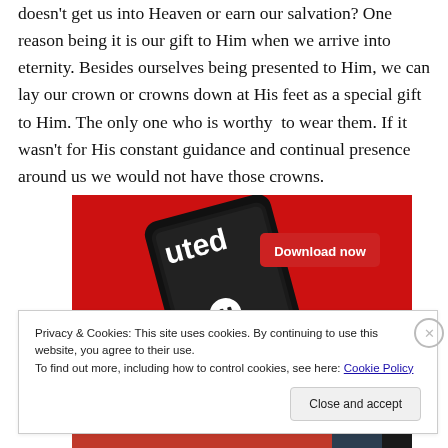doesn't get us into Heaven or earn our salvation? One reason being it is our gift to Him when we arrive into eternity. Besides ourselves being presented to Him, we can lay our crown or crowns down at His feet as a special gift to Him. The only one who is worthy to wear them. If it wasn't for His constant guidance and continual presence around us we would not have those crowns.
[Figure (screenshot): App advertisement showing a smartphone on a red background with music player controls and a 'Download now' button]
Privacy & Cookies: This site uses cookies. By continuing to use this website, you agree to their use.
To find out more, including how to control cookies, see here: Cookie Policy
Close and accept